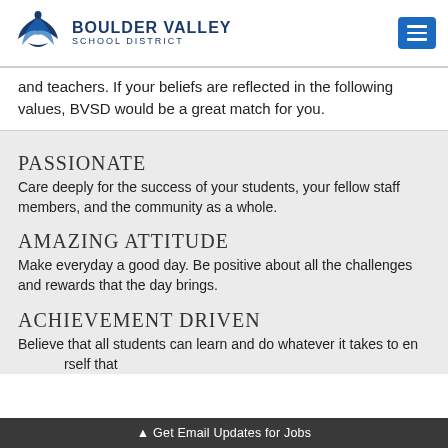Boulder Valley School District
and teachers. If your beliefs are reflected in the following values, BVSD would be a great match for you.
PASSIONATE
Care deeply for the success of your students, your fellow staff members, and the community as a whole.
AMAZING ATTITUDE
Make everyday a good day. Be positive about all the challenges and rewards that the day brings.
ACHIEVEMENT DRIVEN
Believe that all students can learn and do whatever it takes to en... rself that
▲ Get Email Updates for Jobs